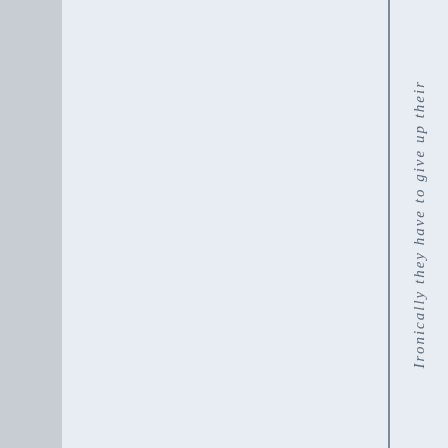Ironically they have to give up their